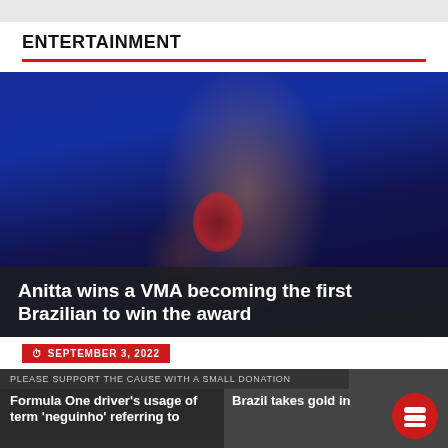ENTERTAINMENT
[Figure (photo): Woman in red dress holding a VMA award trophy on stage with blue stage lighting backdrop, smiling]
Anitta wins a VMA becoming the first Brazilian to win the award
SEPTEMBER 3, 2022
PLEASE SUPPORT THE CAUSE WITH A SMALL DONATION
Formula One driver's usage of term 'neguinho' referring to
Brazil takes gold in